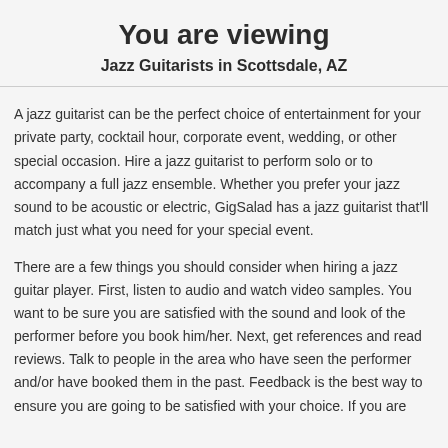You are viewing
Jazz Guitarists in Scottsdale, AZ
A jazz guitarist can be the perfect choice of entertainment for your private party, cocktail hour, corporate event, wedding, or other special occasion. Hire a jazz guitarist to perform solo or to accompany a full jazz ensemble. Whether you prefer your jazz sound to be acoustic or electric, GigSalad has a jazz guitarist that'll match just what you need for your special event.
There are a few things you should consider when hiring a jazz guitar player. First, listen to audio and watch video samples. You want to be sure you are satisfied with the sound and look of the performer before you book him/her. Next, get references and read reviews. Talk to people in the area who have seen the performer and/or have booked them in the past. Feedback is the best way to ensure you are going to be satisfied with your choice. If you are